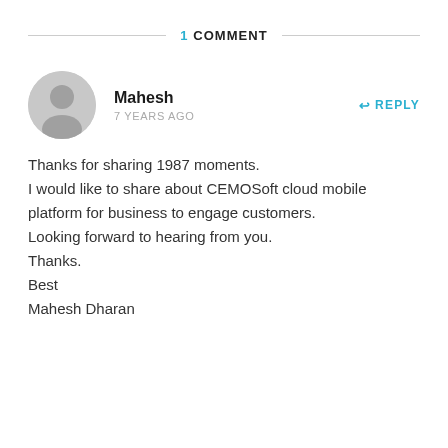1 COMMENT
[Figure (illustration): Gray circular avatar/profile icon with a silhouette of a person]
Mahesh
7 YEARS AGO
REPLY
Thanks for sharing 1987 moments.
I would like to share about CEMOSoft cloud mobile platform for business to engage customers.
Looking forward to hearing from you.
Thanks.
Best
Mahesh Dharan